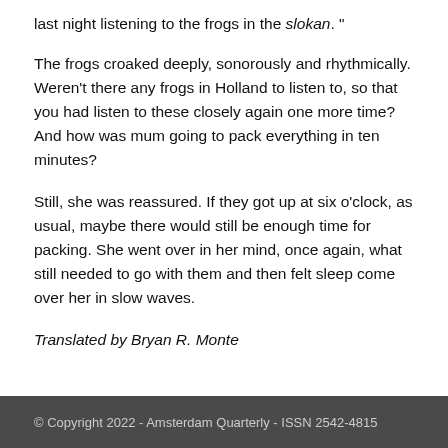last night listening to the frogs in the slokan. "
The frogs croaked deeply, sonorously and rhythmically. Weren't there any frogs in Holland to listen to, so that you had listen to these closely again one more time? And how was mum going to pack everything in ten minutes?
Still, she was reassured. If they got up at six o'clock, as usual, maybe there would still be enough time for packing. She went over in her mind, once again, what still needed to go with them and then felt sleep come over her in slow waves.
Translated by Bryan R. Monte
© Copyright 2022 - Amsterdam Quarterly - ISSN 2542-4815